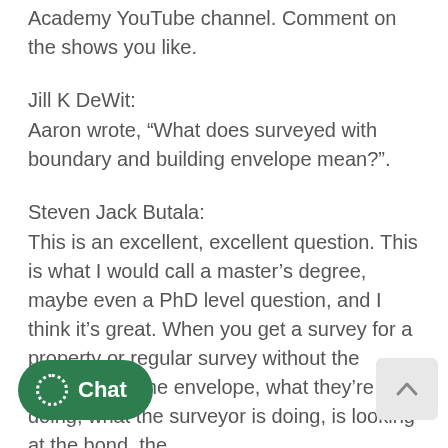Academy YouTube channel. Comment on the shows you like.
Jill K DeWit:
Aaron wrote, “What does surveyed with boundary and building envelope mean?”.
Steven Jack Butala:
This is an excellent, excellent question. This is what I would call a master’s degree, maybe even a PhD level question, and I think it’s great. When you get a survey for a property or regular survey without the boundary or the envelope, what they’re doing, what the surveyor is doing, is looking at the bond, the [description] of the property. And so, we’ve all [seen] people with survey equipment and